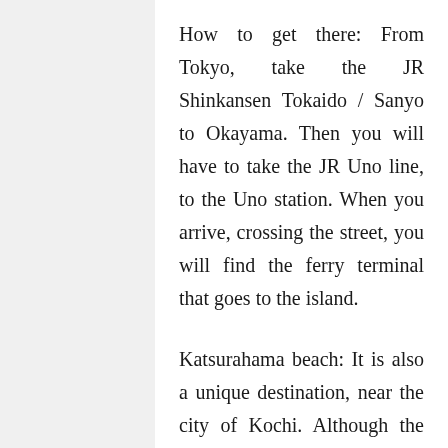How to get there: From Tokyo, take the JR Shinkansen Tokaido / Sanyo to Okayama. Then you will have to take the JR Uno line, to the Uno station. When you arrive, crossing the street, you will find the ferry terminal that goes to the island.
Katsurahama beach: It is also a unique destination, near the city of Kochi. Although the bathroom is forbidden, here you will find exciting attractions such as the famous statue of Sakamoto Ryoma